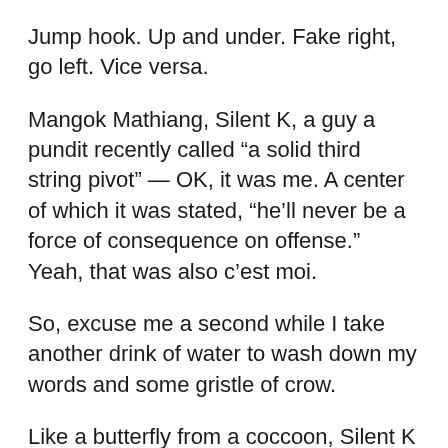Jump hook. Up and under. Fake right, go left. Vice versa.
Mangok Mathiang, Silent K, a guy a pundit recently called “a solid third string pivot” — OK, it was me. A center of which it was stated, “he’ll never be a force of consequence on offense.” Yeah, that was also c’est moi.
So, excuse me a second while I take another drink of water to wash down my words and some gristle of crow.
Like a butterfly from a coccoon, Silent K is morphing into Special K.
Which is probably a bit too much hyperbole. But really